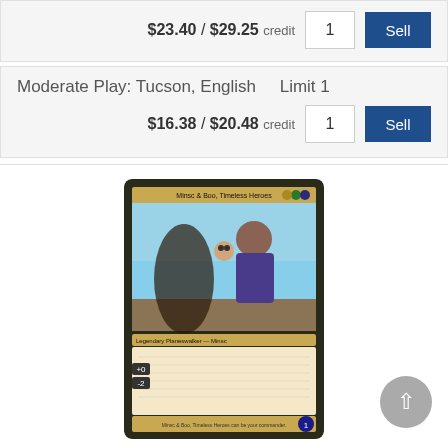$23.40 / $29.25 credit
Moderate Play: Tucson, English    Limit 1
$16.38 / $20.48 credit
[Figure (photo): Magic: The Gathering card image for Minsc & Boo, Timeless Heroes - Foil - Borderless]
Minsc & Boo, Timeless Heroes - Foil - Borderless
Near Mint: Tucson, English    Limit 1